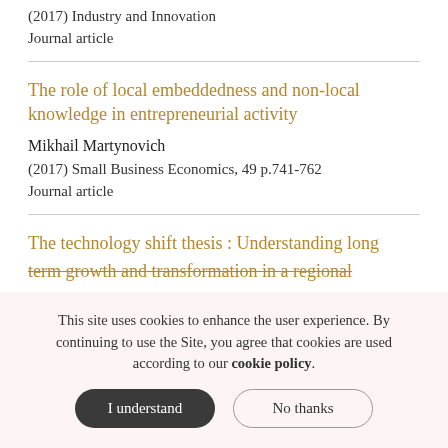(2017) Industry and Innovation
Journal article
The role of local embeddedness and non-local knowledge in entrepreneurial activity
Mikhail Martynovich
(2017) Small Business Economics, 49 p.741-762
Journal article
The technology shift thesis : Understanding long term growth and transformation in a regional
This site uses cookies to enhance the user experience. By continuing to use the Site, you agree that cookies are used according to our cookie policy.